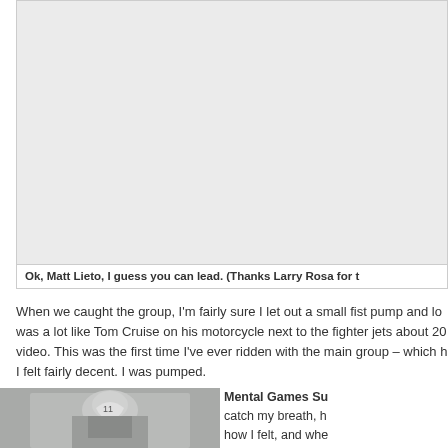[Figure (photo): A large light gray placeholder image area showing a cropped/partially visible photo, likely of a cycling race scene.]
Ok, Matt Lieto, I guess you can lead. (Thanks Larry Rosa for t
When we caught the group, I'm fairly sure I let out a small fist pump and lo was a lot like Tom Cruise on his motorcycle next to the fighter jets about 20 video. This was the first time I've ever ridden with the main group – which h I felt fairly decent. I was pumped.
[Figure (photo): Photo of a cyclist wearing a helmet with number 11, riding in a triathlon or cycling event against a hilly background.]
Mental Games Su catch my breath, h how I felt, and whe check. Feeling de I can run with, che